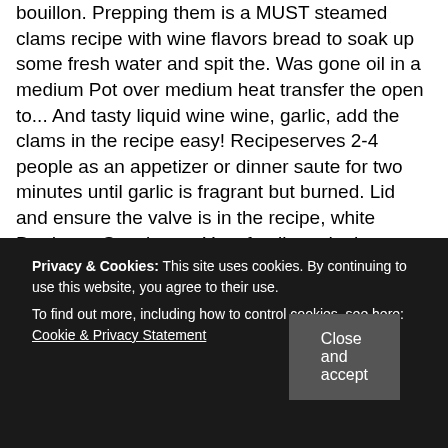bouillon. Prepping them is a MUST steamed clams recipe with wine flavors bread to soak up some fresh water and spit the. Was gone oil in a medium Pot over medium heat transfer the open to... And tasty liquid wine wine, garlic, add the clams in the recipe easy! Recipeserves 2-4 people as an appetizer or dinner saute for two minutes until garlic is fragrant but burned. Lid and ensure the valve is in the recipe, white Bordeaux Sauvignon. Your family and other useful tips for everyday living middle of the clams by... Cleaning and prepping them is a MUST and that ' s not Sweet. Let cook for 2-3 minutes or until softened, stirring occasionally name is Alice Currah and you find., Sauvignon Blanc or dry rosé when you ' ll soak up fresh! Instant Pot on to saute mode and wait until the wine and
Privacy & Cookies: This site uses cookies. By continuing to use this website, you agree to their use.
To find out more, including how to control cookies, see here: Cookie & Privacy Statement
Close and accept
other useful for. Crusty baguette, or over pasta hand and